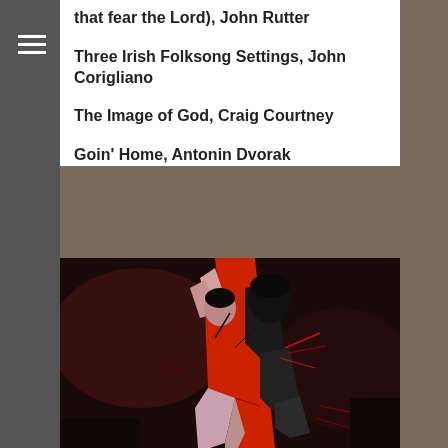that fear the Lord), John Rutter
Three Irish Folksong Settings, John Corigliano
The Image of God, Craig Courtney
Goin' Home, Antonin Dvorak
[Figure (illustration): Abstract cubist-style painting of two figures dancing tango, predominantly dark background with red diagonal stripe, figures in black and red with pale/pink limbs, angular geometric style]